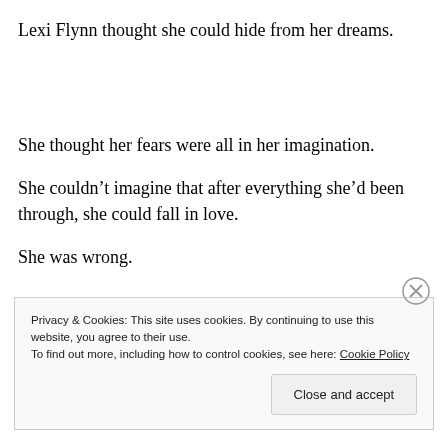Lexi Flynn thought she could hide from her dreams.
She thought her fears were all in her imagination.
She couldn't imagine that after everything she'd been through, she could fall in love.
She was wrong.
Privacy & Cookies: This site uses cookies. By continuing to use this website, you agree to their use.
To find out more, including how to control cookies, see here: Cookie Policy

Close and accept